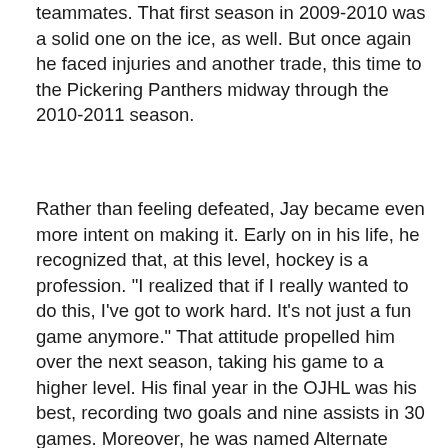teammates. That first season in 2009-2010 was a solid one on the ice, as well. But once again he faced injuries and another trade, this time to the Pickering Panthers midway through the 2010-2011 season.
Rather than feeling defeated, Jay became even more intent on making it. Early on in his life, he recognized that, at this level, hockey is a profession. "I realized that if I really wanted to do this, I've got to work hard. It's not just a fun game anymore." That attitude propelled him over the next season, taking his game to a higher level. His final year in the OJHL was his best, recording two goals and nine assists in 30 games. Moreover, he was named Alternate Captain of the Panthers and awarded the Ray Shearer Leadership Award, which is given to the player who best exhibits leadership as a teammate and member of the